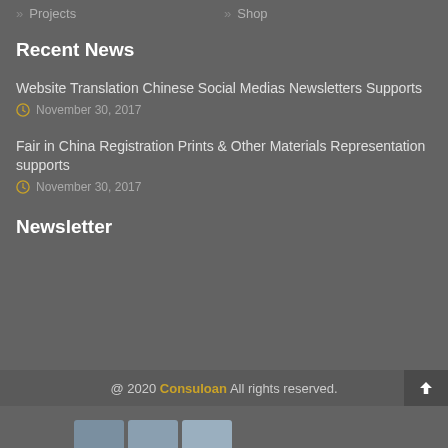» Projects
» Shop
Recent News
Website Translation Chinese Social Medias Newsletters Supports
November 30, 2017
Fair in China Registration Prints & Other Materials Representation supports
November 30, 2017
Newsletter
@ 2020 Consuloan All rights reserved.